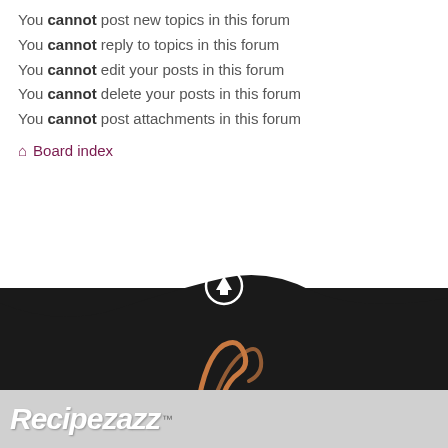You cannot post new topics in this forum
You cannot reply to topics in this forum
You cannot edit your posts in this forum
You cannot delete your posts in this forum
You cannot post attachments in this forum
Board index
[Figure (illustration): Dark wave footer with up-arrow circle icon and Recipezazz logo]
Recipezazz